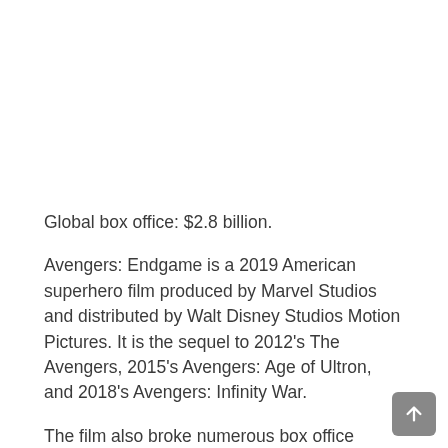Global box office: $2.8 billion.
Avengers: Endgame is a 2019 American superhero film produced by Marvel Studios and distributed by Walt Disney Studios Motion Pictures. It is the sequel to 2012's The Avengers, 2015's Avengers: Age of Ultron, and 2018's Avengers: Infinity War.
The film also broke numerous box office records and has grossed over $2,797,501,328 till now. It is, in just 11 days and becoming the highest-grossing film of 2019, the 2nd highest grossing film